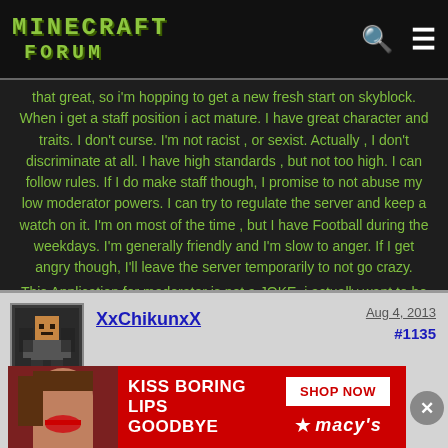Minecraft Forum
that great, so i'm hopping to get a new fresh start on skyblock. When i get a staff position i act mature. I have great character and traits. I don't curse. I'm not racist , or sexist. Actually , I don't discriminate at all. I have high standards , but not too high. I can follow rules. If I do make staff though, I promise to not abuse my low moderator powers. I can try to regulate the server and keep a watch on it. I'm on most of the time , but I have Football during the weekdays. I'm generally friendly and I'm slow to anger. If I get angry though, I'll leave the server temporarily to not go crazy.
This Application for moderator is not a JOKE, i actually want to be a moderator, and be more mature now. 🙂 Many of the players may think this is another one of my "trolls" but this time it's serious. And Many more will think he's never gonna get Mod again but it doesn't hurt to try, and you never know until you try. #BELIEVE #NEVERGIVEUP. #Hashtagarelame 🙂 .
XxChikunxX
Aug 4, 2013
[Figure (screenshot): Macy's advertisement banner: Kiss Boring Lips Goodbye, Shop Now button, Macy's logo with star]